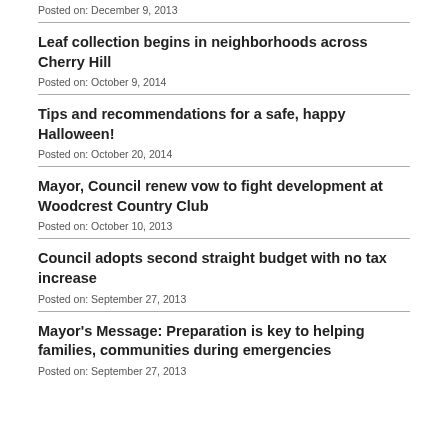Posted on: December 9, 2013
Leaf collection begins in neighborhoods across Cherry Hill
Posted on: October 9, 2014
Tips and recommendations for a safe, happy Halloween!
Posted on: October 20, 2014
Mayor, Council renew vow to fight development at Woodcrest Country Club
Posted on: October 10, 2013
Council adopts second straight budget with no tax increase
Posted on: September 27, 2013
Mayor's Message: Preparation is key to helping families, communities during emergencies
Posted on: September 27, 2013